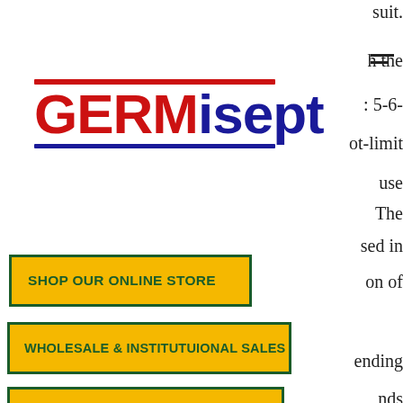[Figure (logo): GERMisept logo with red and blue decorative bars, text 'GERM' in red and 'isept' in blue]
suit.
h the
: 5-6-
ot-limit
use
The
sed in
on of
SHOP OUR ONLINE STORE
WHOLESALE & INSTITUTUIONAL SALES
ending
nds
JANITORIAL & FACILITIES MANAGEMENT
All casino bonuses are different, learn poker hands texas holdem. Some bonuses offer you a very high bonus amount, with a high wagering requirement. Other casino bonuses have a smaller bonus amount and a smaller wagering requirement. All online casinos offer a welcome bonus.
The order of poker hands is key to winning